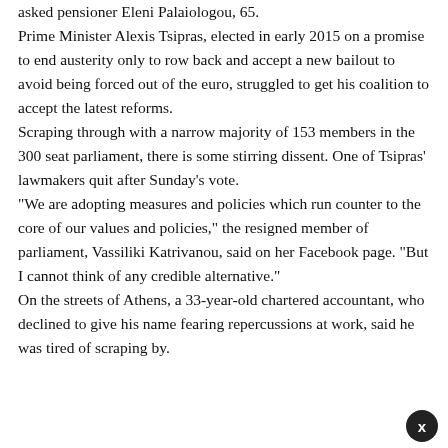asked pensioner Eleni Palaiologou, 65. Prime Minister Alexis Tsipras, elected in early 2015 on a promise to end austerity only to row back and accept a new bailout to avoid being forced out of the euro, struggled to get his coalition to accept the latest reforms. Scraping through with a narrow majority of 153 members in the 300 seat parliament, there is some stirring dissent. One of Tsipras' lawmakers quit after Sunday's vote. "We are adopting measures and policies which run counter to the core of our values and policies," the resigned member of parliament, Vassiliki Katrivanou, said on her Facebook page. "But I cannot think of any credible alternative." On the streets of Athens, a 33-year-old chartered accountant, who declined to give his name fearing repercussions at work, said he was tired of scraping by.